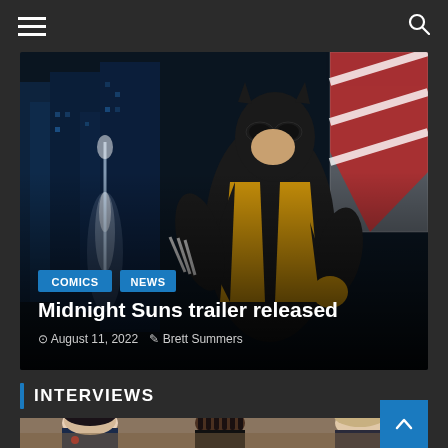Navigation bar with hamburger menu and search icon
[Figure (illustration): Comic book style illustration of a superhero character (Wolverine-like figure in black and yellow costume with claws) in an urban setting with city buildings. Red and white striped element in upper right. Blue/teal color tones on the left side with a glowing figure.]
COMICS
NEWS
Midnight Suns trailer released
August 11, 2022  Brett Summers
INTERVIEWS
[Figure (photo): Photo of three young people (two males and one female) posing together. The leftmost person has pale skin and dark hair wearing a dark blue jacket with red details. The middle person is a Black male with dreadlocks wearing dark clothing. The rightmost person is a female with light hair pulled back.]